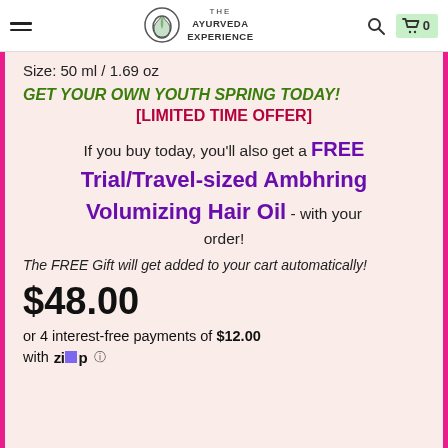The Ayurveda Experience — Navigation bar with logo, search, and cart (0 items)
Size: 50 ml / 1.69 oz
GET YOUR OWN YOUTH SPRING TODAY!
[LIMITED TIME OFFER]
If you buy today, you'll also get a FREE Trial/Travel-sized Ambhring Volumizing Hair Oil - with your order!
The FREE Gift will get added to your cart automatically!
$48.00
or 4 interest-free payments of $12.00 with Zip ⓘ